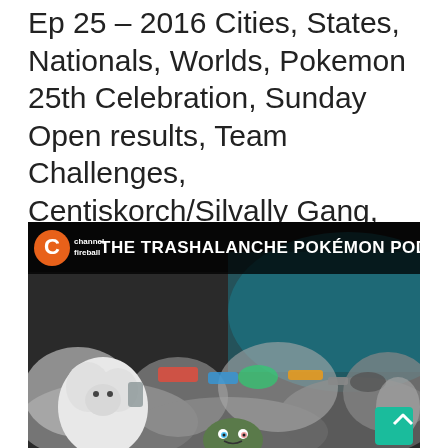Ep 25 – 2016 Cities, States, Nationals, Worlds, Pokemon 25th Celebration, Sunday Open results, Team Challenges, Centiskorch/Silvally Gang, 2017 Worlds Format, VG players playing TCG, Pokemon Stadium, VGC!
[Figure (illustration): The Trashalanche Pokémon Podcast thumbnail image showing a pile of trash/garbage with Pokémon plushies and a Garbodor peeking from behind, with Channel Fireball logo and podcast title text overlay at top.]